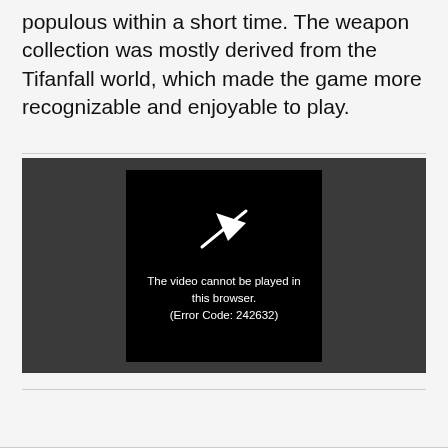populous within a short time. The weapon collection was mostly derived from the Tifanfall world, which made the game more recognizable and enjoyable to play.
[Figure (screenshot): A video player showing an error message on a dark background. The center black panel displays a broken/crossed play icon and the text: 'The video cannot be played in this browser. (Error Code: 242632)']